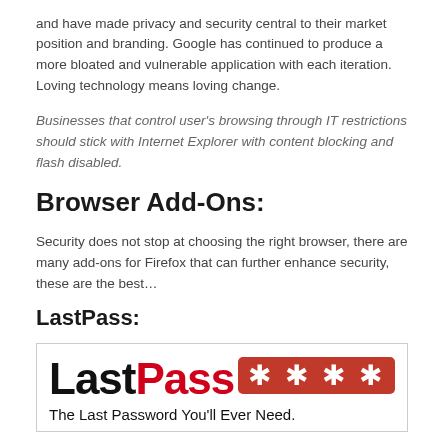and have made privacy and security central to their market position and branding. Google has continued to produce a more bloated and vulnerable application with each iteration. Loving technology means loving change.
Businesses that control user's browsing through IT restrictions should stick with Internet Explorer with content blocking and flash disabled.
Browser Add-Ons:
Security does not stop at choosing the right browser, there are many add-ons for Firefox that can further enhance security, these are the best…
LastPass:
[Figure (logo): LastPass logo: 'Last' in black bold text and 'Pass' in red bold text followed by a red rounded rectangle with four white asterisk stars, and tagline 'The Last Password You'll Ever Need.' in black below.]
LastPass Lets you create a secure vault for all your passwords